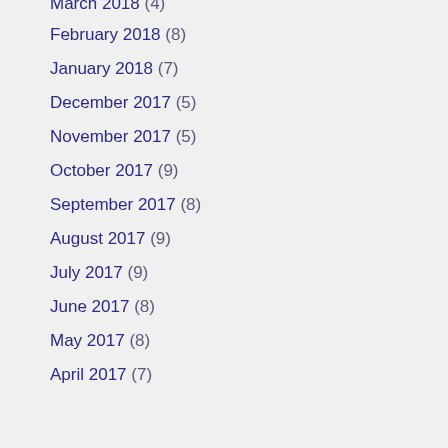March 2018 (4)
February 2018 (8)
January 2018 (7)
December 2017 (5)
November 2017 (5)
October 2017 (9)
September 2017 (8)
August 2017 (9)
July 2017 (9)
June 2017 (8)
May 2017 (8)
April 2017 (7)